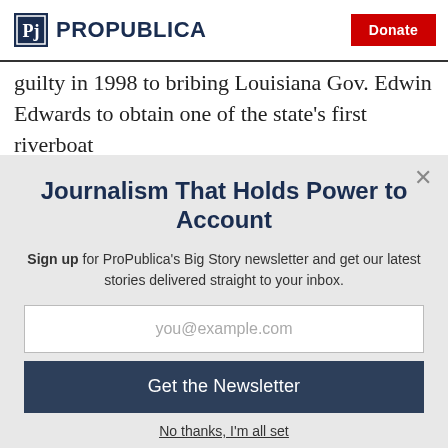ProPublica | Donate
guilty in 1998 to bribing Louisiana Gov. Edwin Edwards to obtain one of the state's first riverboat
Journalism That Holds Power to Account
Sign up for ProPublica's Big Story newsletter and get our latest stories delivered straight to your inbox.
you@example.com
Get the Newsletter
No thanks, I'm all set
This site is protected by reCAPTCHA and the Google Privacy Policy and Terms of Service apply.